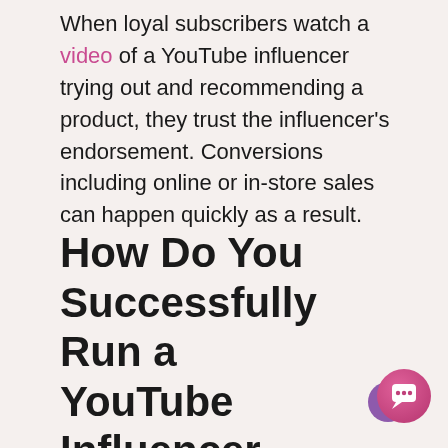When loyal subscribers watch a video of a YouTube influencer trying out and recommending a product, they trust the influencer's endorsement. Conversions including online or in-store sales can happen quickly as a result.
How Do You Successfully Run a YouTube Influencer Campaign?
[Figure (illustration): Chat bubble UI icon — a circular button with a gradient from purple to pink containing a white speech bubble icon, with a smaller purple circle overlapping behind it.]